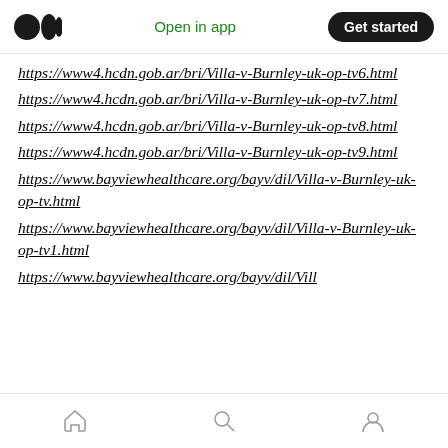Open in app | Get started
https://www4.hcdn.gob.ar/bri/Villa-v-Burnley-uk-op-tv6.html
https://www4.hcdn.gob.ar/bri/Villa-v-Burnley-uk-op-tv7.html
https://www4.hcdn.gob.ar/bri/Villa-v-Burnley-uk-op-tv8.html
https://www4.hcdn.gob.ar/bri/Villa-v-Burnley-uk-op-tv9.html
https://www.bayviewhealthcare.org/bayv/dil/Villa-v-Burnley-uk-op-tv.html
https://www.bayviewhealthcare.org/bayv/dil/Villa-v-Burnley-uk-op-tv1.html
https://www.bayviewhealthcare.org/bayv/dil/Vill
Home | Search | Profile